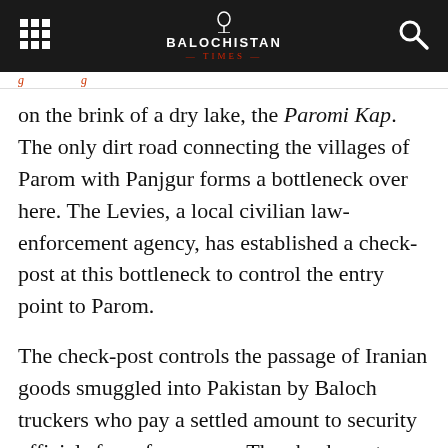Balochistan Times
g...g
on the brink of a dry lake, the Paromi Kap. The only dirt road connecting the villages of Parom with Panjgur forms a bottleneck over here. The Levies, a local civilian law-enforcement agency, has established a check-post at this bottleneck to control the entry point to Parom.

The check-post controls the passage of Iranian goods smuggled into Pakistan by Baloch truckers who pay a settled amount to security officials for safe passage. The check-post personnel also help paramilitary FC personnel during their operations against B...